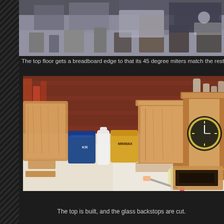[Figure (photo): Top portion of a workshop photo showing tools and equipment on shelves, partially visible at top of page]
The top floor gets a breadboard edge to that its 45 degree miters match the rest o
[Figure (photo): Workshop scene showing wooden clock cases being assembled on a workbench. Two wooden cabinet/clock frames visible, one with a clock face installed. Various tools, paint cans, bottles, screwdriver, tape measure, and a wooden frame on the workbench surface.]
The top is built, and the glass backstops are cut.